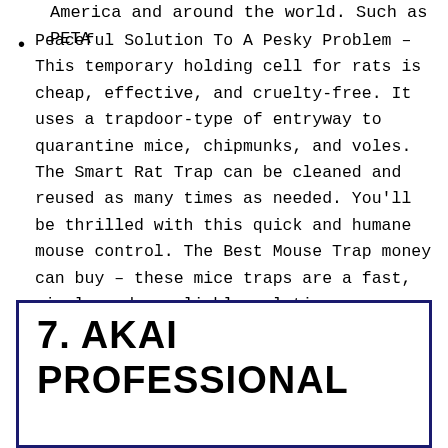America and around the world. Such as PETA
Peaceful Solution To A Pesky Problem – This temporary holding cell for rats is cheap, effective, and cruelty-free. It uses a trapdoor-type of entryway to quarantine mice, chipmunks, and voles. The Smart Rat Trap can be cleaned and reused as many times as needed. You'll be thrilled with this quick and humane mouse control. The Best Mouse Trap money can buy – these mice traps are a fast, simple and a reliable solution.
7. AKAI PROFESSIONAL